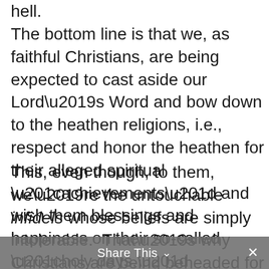hell.
The bottom line is that we, as faithful Christians, are being expected to cast aside our Lord’s Word and bow down to the heathen religions, i.e., respect and honor the heathen for their alleged spiritual “achievements” and wish them blessings and happiness on their so-called “holy days.”
This, even though, to them, we’re the untouchable infidels whose beliefs are simply intolerable. That’s why Christians are being beheaded for their faith throughout the Middle East, even as our
Share This